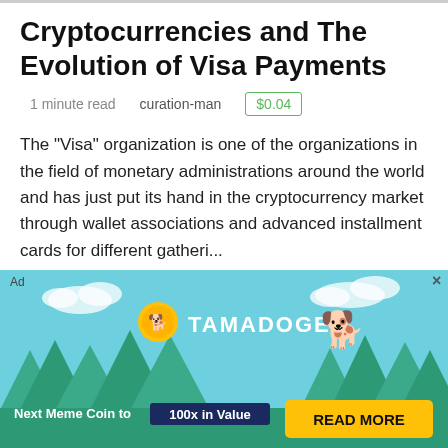Cryptocurrencies and The Evolution of Visa Payments
1 minute read    curation-man    $0.04
The "Visa" organization is one of the organizations in the field of monetary administrations around the world and has just put its hand in the cryptocurrency market through wallet associations and advanced installment cards for different gatheri...
[Figure (infographic): Yellow banner advertisement area with a blue card hint at the bottom]
[Figure (infographic): Ad banner for Tamadoge: light blue background with trees, clouds, Tamadoge logo with dog character, text 'Next Meme Coin to 100x in Value' and 'READ MORE' button]